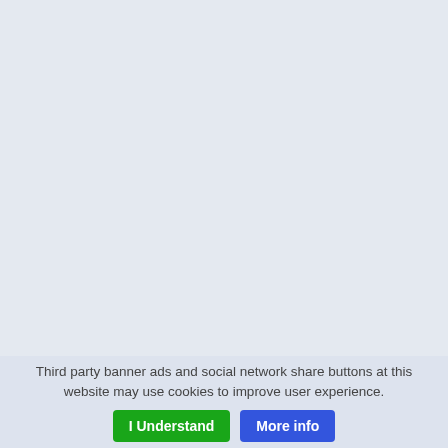[Figure (other): Large blank light blue-grey background area occupying the upper portion of the page]
Third party banner ads and social network share buttons at this website may use cookies to improve user experience.
I Understand
More info